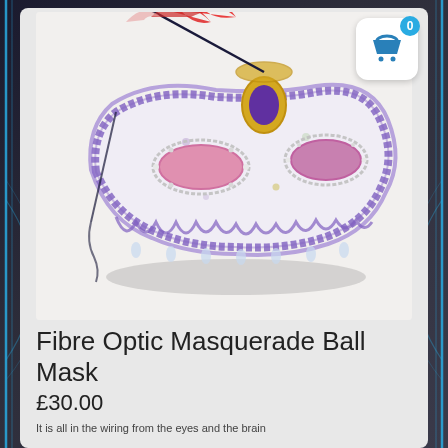[Figure (photo): A decorative masquerade ball mask with purple lace trim, pink eye cutouts with rhinestone borders, a gold and purple oval gemstone ornament at center top, red and yellow feathers on a stick, and a black elastic headband. The mask is white with purple dot pattern.]
Fibre Optic Masquerade Ball Mask
£30.00
It is all in the wiring from the eyes and the brain